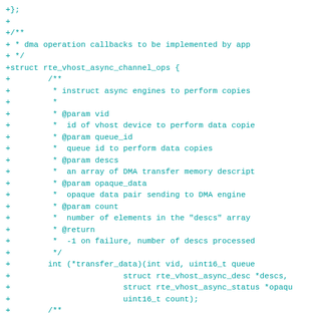Code diff showing rte_vhost_async_channel_ops struct definition with dma operation callbacks